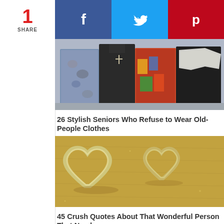1 SHARE
f (Facebook share button)
Twitter share button
Pinterest share button
[Figure (photo): Group of four stylishly dressed older women in colorful outfits standing together outdoors]
26 Stylish Seniors Who Refuse to Wear Old-People Clothes
[Figure (photo): Two metal heart-shaped cookie cutters on a golden sandy surface]
45 Crush Quotes About That Wonderful Person That Needs...